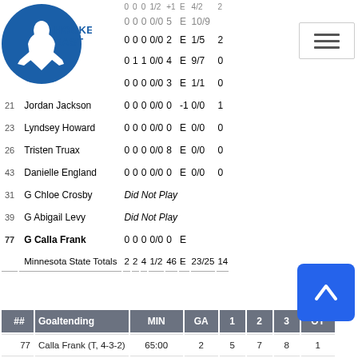[Figure (logo): Hockey East logo with hockey player silhouette]
| # | Name | G | A | PTS | +/- | PIM | +/- | S/MS | BS |
| --- | --- | --- | --- | --- | --- | --- | --- | --- | --- |
|  |  | 0 | 0 | 0 | 1/2 | +1 | E | 4/2 | 2 |
| 17 | Maria ... | 0 | 0 | 0 | 0/0 | 5 | E | 10/9 |  |
| 17 | Brooke Bryant | 0 | 0 | 0 | 0/0 | 2 | E | 1/5 | 2 |
| 19 | Brittyn Fleming | 0 | 1 | 1 | 0/0 | 4 | E | 9/7 | 0 |
| 20 | Kelsey King | 0 | 0 | 0 | 0/0 | 3 | E | 1/1 | 0 |
| 21 | Jordan Jackson | 0 | 0 | 0 | 0/0 | 0 | -1 | 0/0 | 1 |
| 23 | Lyndsey Howard | 0 | 0 | 0 | 0/0 | 0 | E | 0/0 | 0 |
| 26 | Tristen Truax | 0 | 0 | 0 | 0/0 | 8 | E | 0/0 | 0 |
| 43 | Danielle England | 0 | 0 | 0 | 0/0 | 0 | E | 0/0 | 0 |
| 31 | G Chloe Crosby | Did Not Play |  |  |  |  |  |  |  |
| 39 | G Abigail Levy | Did Not Play |  |  |  |  |  |  |  |
| 77 | G Calla Frank | 0 | 0 | 0 | 0/0 | 0 | E |  |  |
|  | Minnesota State Totals | 2 | 2 | 4 | 1/2 | 46 | E | 23/25 | 14 |
| ## | Goaltending | MIN | GA | 1 | 2 | 3 | OT |
| --- | --- | --- | --- | --- | --- | --- | --- |
| 77 | Calla Frank (T, 4-3-2) | 65:00 | 2 | 5 | 7 | 8 | 1 |